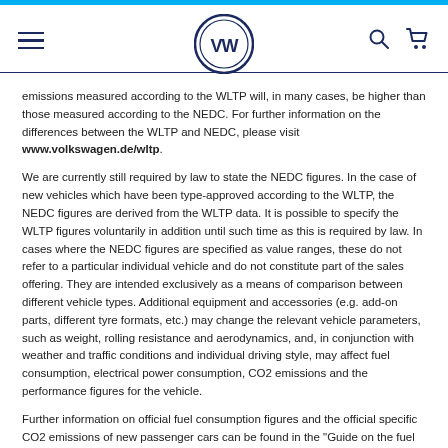[Figure (logo): Volkswagen VW logo centered in navigation bar with hamburger menu on left and search/cart icons on right]
emissions measured according to the WLTP will, in many cases, be higher than those measured according to the NEDC. For further information on the differences between the WLTP and NEDC, please visit www.volkswagen.de/wltp.
We are currently still required by law to state the NEDC figures. In the case of new vehicles which have been type-approved according to the WLTP, the NEDC figures are derived from the WLTP data. It is possible to specify the WLTP figures voluntarily in addition until such time as this is required by law. In cases where the NEDC figures are specified as value ranges, these do not refer to a particular individual vehicle and do not constitute part of the sales offering. They are intended exclusively as a means of comparison between different vehicle types. Additional equipment and accessories (e.g. add-on parts, different tyre formats, etc.) may change the relevant vehicle parameters, such as weight, rolling resistance and aerodynamics, and, in conjunction with weather and traffic conditions and individual driving style, may affect fuel consumption, electrical power consumption, CO2 emissions and the performance figures for the vehicle.
Further information on official fuel consumption figures and the official specific CO2 emissions of new passenger cars can be found in the "Guide on the fuel economy, CO2 emissions and power consumption of new passenger car models", which is available free of charge at all sales dealerships and from DAT Deutsche Automobil Treuhand GmbH, Hellmuth-Hirth-Str. 1, D-73760 Ostfildern, Germany and at